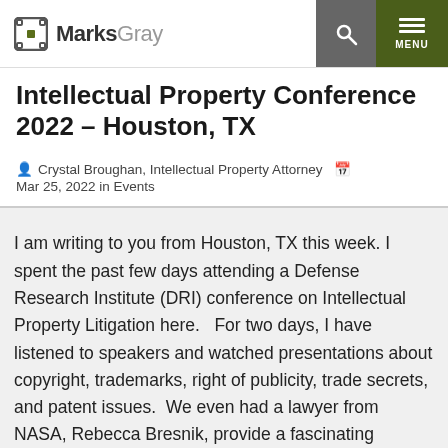MarksGray
Intellectual Property Conference 2022 – Houston, TX
Crystal Broughan, Intellectual Property Attorney   Mar 25, 2022 in Events
I am writing to you from Houston, TX this week. I spent the past few days attending a Defense Research Institute (DRI) conference on Intellectual Property Litigation here.   For two days, I have listened to speakers and watched presentations about copyright, trademarks, right of publicity, trade secrets, and patent issues.  We even had a lawyer from NASA, Rebecca Bresnik, provide a fascinating presentation on space law. She talked